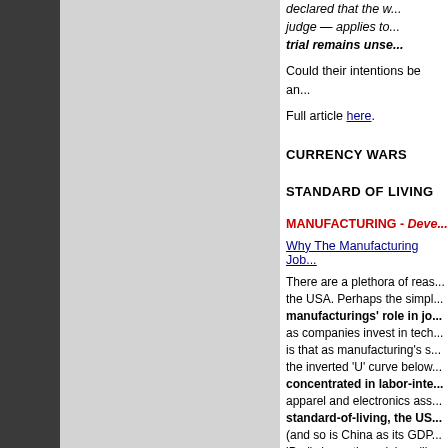declared that the w... judge — applies to... trial remains unse...
Could their intentions be an...
Full article here.
CURRENCY WARS
STANDARD OF LIVING
MANUFACTURING - Deve...
Why The Manufacturing Job...
There are a plethora of reas... the USA. Perhaps the simpl... manufacturings' role in jo... as companies invest in tech... is that as manufacturing's s... the inverted 'U' curve below... concentrated in labor-inte... apparel and electronics ass... standard-of-living, the US... (and so is China as its GDP... iPad) down, those jobs will c...